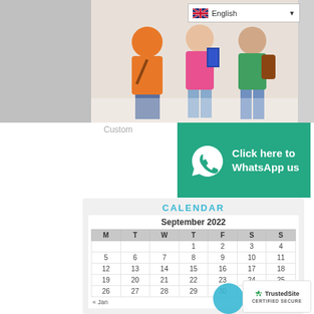[Figure (photo): Group of students carrying books and bags, language selector dropdown showing English with flag in top right]
[Figure (infographic): WhatsApp banner - teal background with WhatsApp logo and text: Click here to WhatsApp us]
Custom
CALENDAR
| M | T | W | T | F | S | S |
| --- | --- | --- | --- | --- | --- | --- |
|  |  |  | 1 | 2 | 3 | 4 |
| 5 | 6 | 7 | 8 | 9 | 10 | 11 |
| 12 | 13 | 14 | 15 | 16 | 17 | 18 |
| 19 | 20 | 21 | 22 | 23 | 24 | 25 |
| 26 | 27 | 28 | 29 | 30 |  |  |
« Jan
[Figure (logo): TrustedSite CERTIFIED SECURE badge]